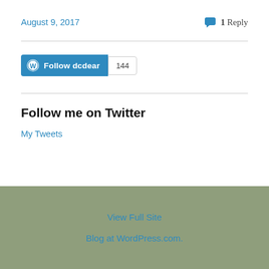August 9, 2017
1 Reply
[Figure (other): Follow dcdear WordPress button with count badge showing 144]
Follow me on Twitter
My Tweets
View Full Site
Blog at WordPress.com.